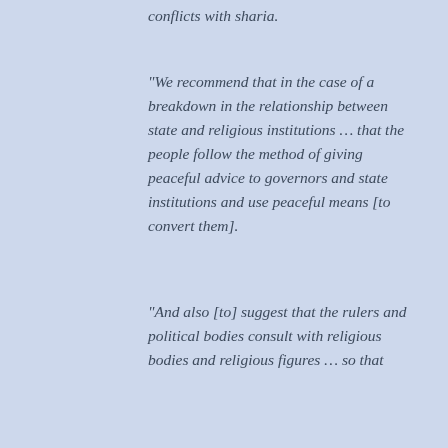conflicts with sharia.
“We recommend that in the case of a breakdown in the relationship between state and religious institutions … that the people follow the method of giving peaceful advice to governors and state institutions and use peaceful means [to convert them].
“And also [to] suggest that the rulers and political bodies consult with religious bodies and religious figures … so that